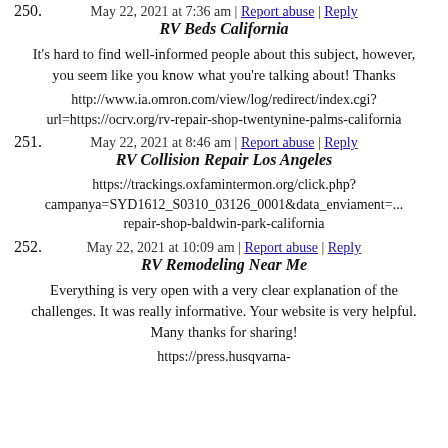May 22, 2021 at 7:36 am | Report abuse | Reply
250. RV Beds California
It's hard to find well-informed people about this subject, however, you seem like you know what you're talking about! Thanks
http://www.ia.omron.com/view/log/redirect/index.cgi?url=https://ocrv.org/rv-repair-shop-twentynine-palms-california
May 22, 2021 at 8:46 am | Report abuse | Reply
251. RV Collision Repair Los Angeles
https://trackings.oxfamintermon.org/click.php?campanya=SYD1612_S0310_03126_0001&data_enviament=...repair-shop-baldwin-park-california
May 22, 2021 at 10:09 am | Report abuse | Reply
252. RV Remodeling Near Me
Everything is very open with a very clear explanation of the challenges. It was really informative. Your website is very helpful. Many thanks for sharing!
https://press.husqvarna-